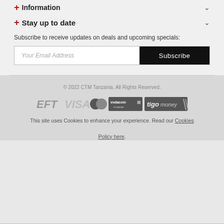+ Information ∨
+ Stay up to date ∨
Subscribe to receive updates on deals and upcoming specials:
Your Email Address | Subscribe
© 2022 CTM Tanzania. All Rights Reserved.
[Figure (logo): Payment logos: EFT, VISA, Mastercard, Vodacom m-pesa, Tigo money]
This site uses Cookies to enhance your experience. Read our Cookies Policy here.